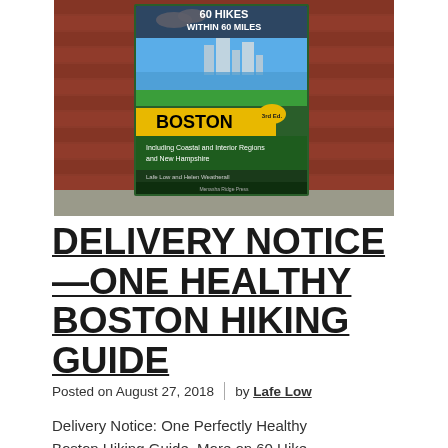[Figure (photo): Photo of a book titled '60 Hikes Within 60 Miles: Boston' propped against a red brick wall. The book cover shows a coastal scene with green grass, water, and city skyline. It has a yellow banner reading 'BOSTON' and subtitle 'Including Coastal and Interior Regions and New Hampshire'.]
DELIVERY NOTICE —ONE HEALTHY BOSTON HIKING GUIDE
Posted on August 27, 2018  |  by Lafe Low
Delivery Notice: One Perfectly Healthy Boston Hiking Guide. More on 60 Hike...